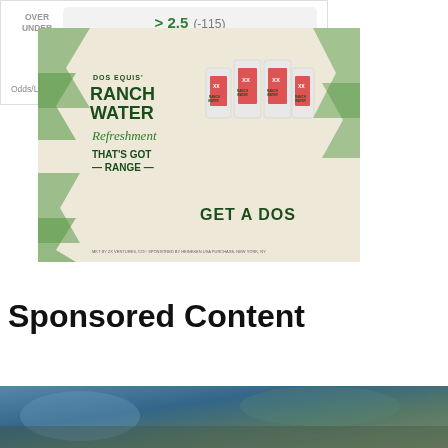|  | Odds |
| --- | --- |
| OVER / UNDER | > 2.5 (-115) |
|  | < 2.5 (-105) |
Odds/Lines subject to change. See draftkings.com for details.
[Figure (illustration): Dos Equis Ranch Water advertisement. Beige/tan background with green chevron arrows on left and right sides. Text reads: DOS EQUIS' RANCH WATER / Refreshment / THAT'S GOT — RANGE — / GET A DOS. Four Ranch Water hard seltzer cans shown on the right side.]
Sponsored Content
[Figure (photo): Partial bottom strip showing a blurry outdoor or nature photo scene.]